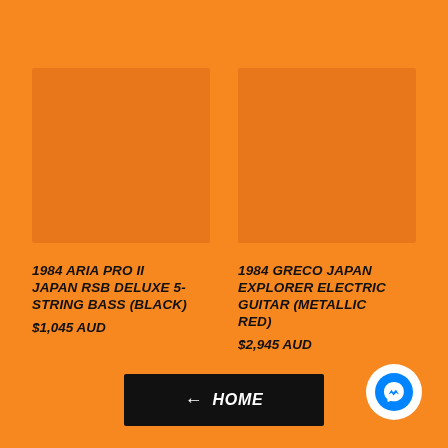[Figure (photo): Product image placeholder left - orange rectangle]
[Figure (photo): Product image placeholder right - orange rectangle]
1984 ARIA PRO II JAPAN RSB DELUXE 5-STRING BASS (BLACK)
$1,045 AUD
1984 GRECO JAPAN EXPLORER ELECTRIC GUITAR (METALLIC RED)
$2,945 AUD
← HOME
[Figure (logo): Facebook Messenger icon - blue circle with white lightning bolt chat icon]